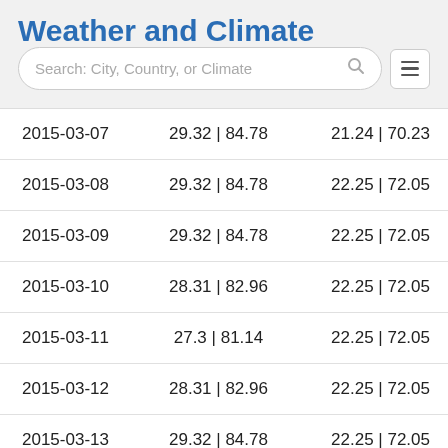Weather and Climate
| Date | Col2 | Col3 |
| --- | --- | --- |
| 2015-03-07 | 29.32 | 84.78 | 21.24 | 70.23 |
| 2015-03-08 | 29.32 | 84.78 | 22.25 | 72.05 |
| 2015-03-09 | 29.32 | 84.78 | 22.25 | 72.05 |
| 2015-03-10 | 28.31 | 82.96 | 22.25 | 72.05 |
| 2015-03-11 | 27.3 | 81.14 | 22.25 | 72.05 |
| 2015-03-12 | 28.31 | 82.96 | 22.25 | 72.05 |
| 2015-03-13 | 29.32 | 84.78 | 22.25 | 72.05 |